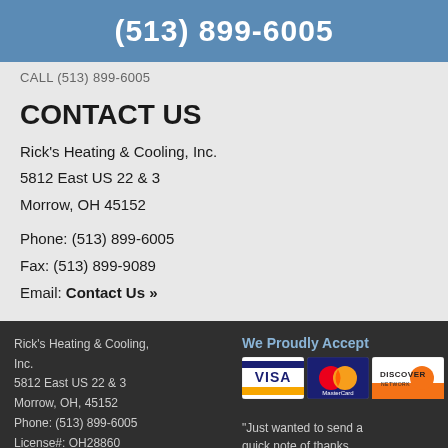(513) 899-6005
CALL (513) 899-6005
CONTACT US
Rick's Heating & Cooling, Inc.
5812 East US 22 & 3
Morrow, OH 45152
Phone: (513) 899-6005
Fax: (513) 899-9089
Email: Contact Us »
Rick's Heating & Cooling, Inc.
5812 East US 22 & 3
Morrow, OH, 45152
Phone: (513) 899-6005
License#: OH28860
We Proudly Accept
[Figure (logo): VISA, MasterCard, and Discover payment card logos displayed in a row]
Read our Reviews on Google
"Just wanted to send a quick note of thanks